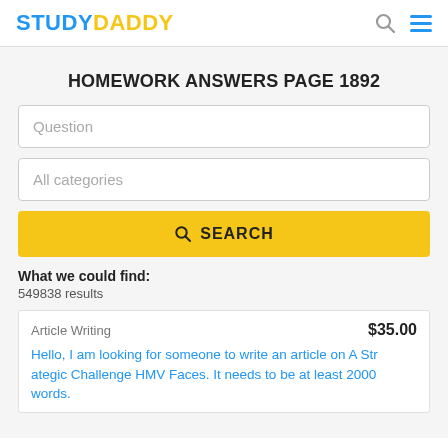STUDYDADDY
HOMEWORK ANSWERS PAGE 1892
Question
All categories
SEARCH
What we could find:
549838 results
Article Writing
$35.00
Hello, I am looking for someone to write an article on A Strategic Challenge HMV Faces. It needs to be at least 2000 words.